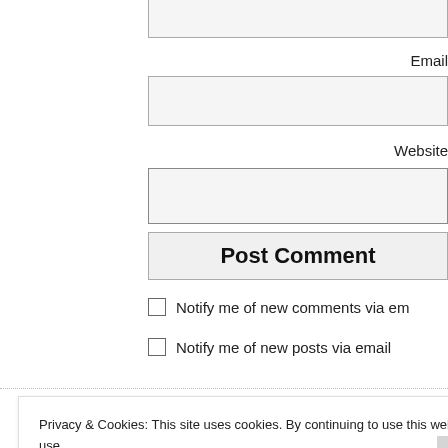Email
Website
Post Comment
Notify me of new comments via em
Notify me of new posts via email
Privacy & Cookies: This site uses cookies. By continuing to use this website, you agree to their use. To find out more, including how to control cookies, see here: Cookie Policy
Close and accept